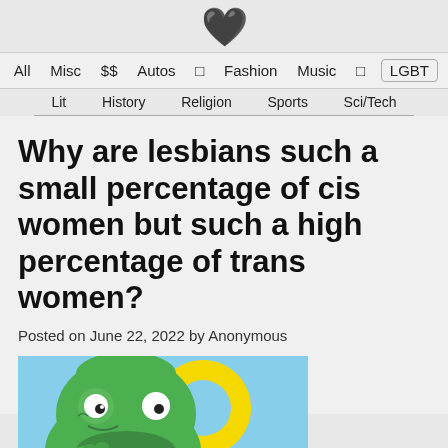♥ All | Misc | $$ | Autos | □ | Fashion | Music | □ | LGBT | Lit | History | Religion | Sports | Sci/Tech
Why are lesbians such a small percentage of cis women but such a high percentage of trans women?
Posted on June 22, 2022 by Anonymous
[Figure (illustration): Pepe the frog meme illustration on light blue background, frog character with hand on chin in a thinking pose, with a yellow object beside it]